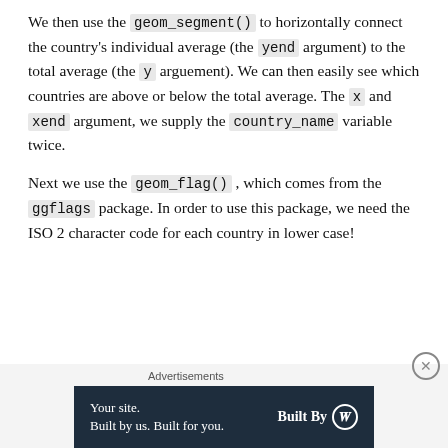We then use the geom_segment() to horizontally connect the country's individual average (the yend argument) to the total average (the y arguement). We can then easily see which countries are above or below the total average. The x and xend argument, we supply the country_name variable twice.
Next we use the geom_flag() , which comes from the ggflags package. In order to use this package, we need the ISO 2 character code for each country in lower case!
Advertisements | Your site. Built by us. Built for you. | Built By W